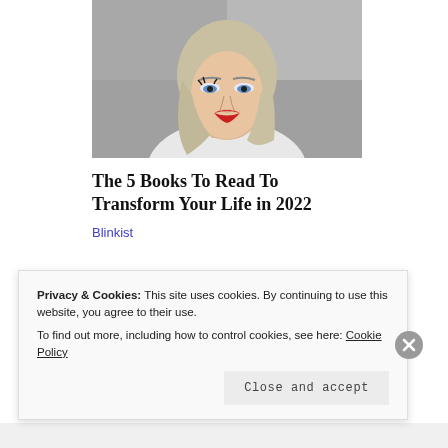[Figure (photo): Portrait photo of a young blonde woman with red lips, wearing white, against a grey background]
The 5 Books To Read To Transform Your Life in 2022
Blinkist
[Figure (photo): Partial photo of a person, partially obscured by cookie consent banner]
Privacy & Cookies: This site uses cookies. By continuing to use this website, you agree to their use. To find out more, including how to control cookies, see here: Cookie Policy
Close and accept